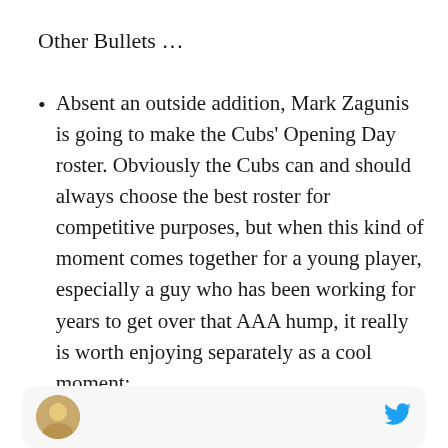Other Bullets …
Absent an outside addition, Mark Zagunis is going to make the Cubs' Opening Day roster. Obviously the Cubs can and should always choose the best roster for competitive purposes, but when this kind of moment comes together for a young player, especially a guy who has been working for years to get over that AAA hump, it really is worth enjoying separately as a cool moment:
[Figure (screenshot): Partial Twitter/social media card with a user avatar (profile photo, partial view) on the left and a Twitter bird icon on the right, on a light gray rounded card background.]